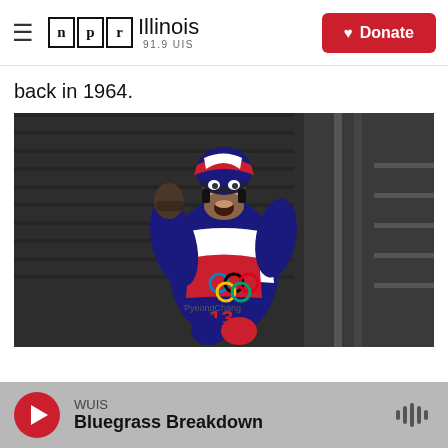NPR Illinois 91.9 UIS | Donate
back in 1964.
[Figure (photo): Olympic luge athlete wearing number 13 jersey with PyeongChang 2018 branding and USA helmet, celebrating with fist raised, wearing red/white/blue suit]
WUIS | Bluegrass Breakdown